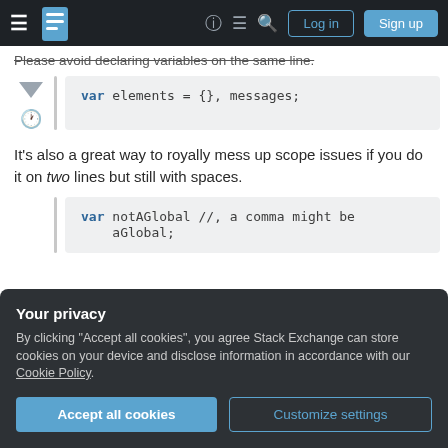Stack Exchange navigation bar with Log in and Sign up buttons
Please avoid declaring variables on the same line.
[Figure (screenshot): Code block showing: var elements = {}, messages;]
It's also a great way to royally mess up scope issues if you do it on two lines but still with spaces.
[Figure (screenshot): Code block showing: var notAGlobal //, a comma might be aGlobal;]
Your privacy
By clicking "Accept all cookies", you agree Stack Exchange can store cookies on your device and disclose information in accordance with our Cookie Policy.
Accept all cookies   Customize settings